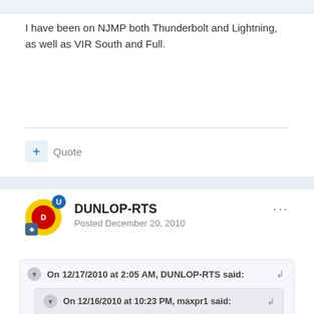I have been on NJMP both Thunderbolt and Lightning, as well as VIR South and Full.
+ Quote
DUNLOP-RTS
Posted December 20, 2010
On 12/17/2010 at 2:05 AM, DUNLOP-RTS said:
On 12/16/2010 at 10:23 PM, maxpr1 said: